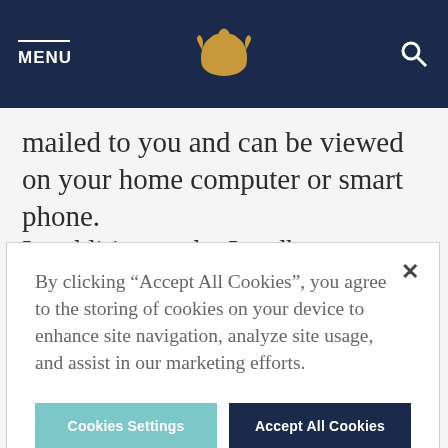MENU [bear logo] [search icon]
mailed to you and can be viewed on your home computer or smart phone.
In addition to the Leadbetter Academy,
By clicking "Accept All Cookies", you agree to the storing of cookies on your device to enhance site navigation, analyze site usage, and assist in our marketing efforts.
Cookies Settings  Accept All Cookies